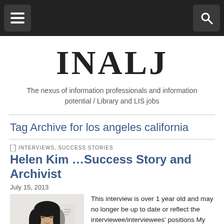INALJ - Navigation bar with menu and search icons
INALJ
The nexus of information professionals and information potential / Library and LIS jobs
Tag Archive for los angeles california
INTERVIEWS, SUCCESS STORIES
Helen Kim …Success Story and Archivist
July 15, 2013
[Figure (photo): Photo of Helen Kim, a woman with dark hair, standing in front of a light background]
This interview is over 1 year old and may no longer be up to date or reflect the interviewee/interviewees' positions My interview with success story,